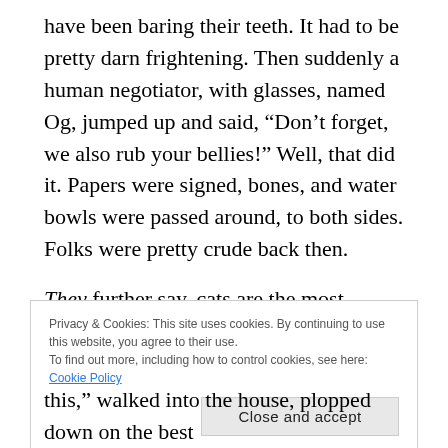have been baring their teeth. It had to be pretty darn frightening. Then suddenly a human negotiator, with glasses, named Og, jumped up and said, “Don’t forget, we also rub your bellies!” Well, that did it. Papers were signed, bones, and water bowls were passed around, to both sides. Folks were pretty crude back then.
They further say, cats are the most successful killers on the planet, and were never domesticated. They never negotiated their service, or signed any of the papers.
Privacy & Cookies: This site uses cookies. By continuing to use this website, you agree to their use.
To find out more, including how to control cookies, see here: Cookie Policy
Close and accept
this,” walked into the house, plopped down on the best